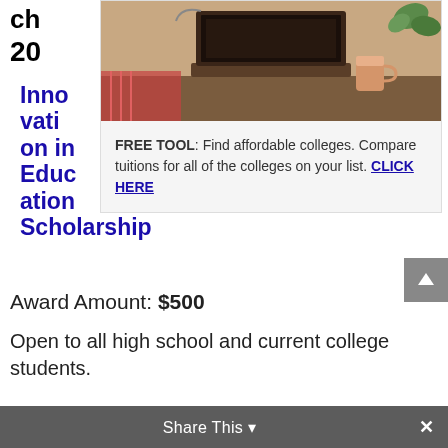ch
20
Innovation in Education Scholarship
[Figure (photo): Photo of a person working on a laptop at a desk with coffee cup and plants in the background]
FREE TOOL: Find affordable colleges. Compare tuitions for all of the colleges on your list. CLICK HERE
Award Amount: $500
Open to all high school and current college students.
Share This